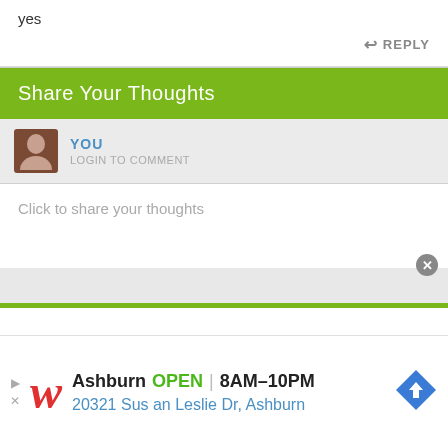yes
REPLY
Share Your Thoughts
YOU
LOGIN TO COMMENT
Click to share your thoughts
[Figure (screenshot): Walgreens advertisement banner showing Ashburn store OPEN 8AM-10PM, address 20321 Susan Leslie Dr, Ashburn, with navigation icon]